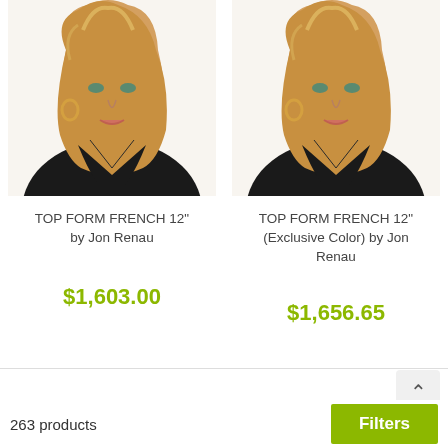[Figure (photo): Model wearing blonde wig - TOP FORM FRENCH 12" product photo left]
[Figure (photo): Model wearing blonde wig - TOP FORM FRENCH 12" (Exclusive Color) product photo right]
TOP FORM FRENCH 12" by Jon Renau
$1,603.00
TOP FORM FRENCH 12" (Exclusive Color) by Jon Renau
$1,656.65
263 products
Filters